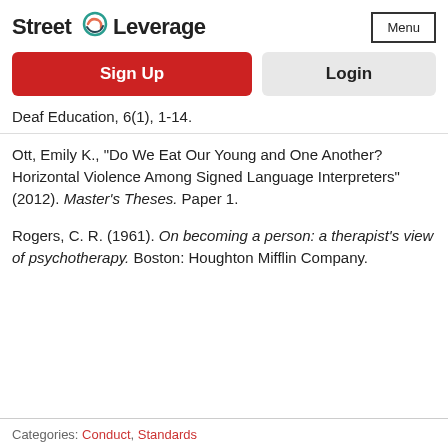Street Leverage | Menu
Sign Up
Login
Deaf Education, 6(1), 1-14.
Ott, Emily K., "Do We Eat Our Young and One Another? Horizontal Violence Among Signed Language Interpreters" (2012). Master's Theses. Paper 1.
Rogers, C. R. (1961). On becoming a person: a therapist's view of psychotherapy. Boston: Houghton Mifflin Company.
Categories: Conduct, Standards